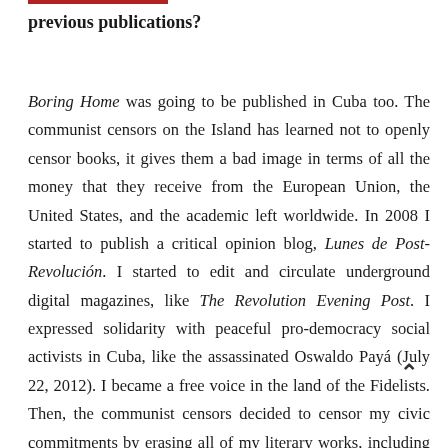previous publications?
Boring Home was going to be published in Cuba too. The communist censors on the Island has learned not to openly censor books, it gives them a bad image in terms of all the money that they receive from the European Union, the United States, and the academic left worldwide. In 2008 I started to publish a critical opinion blog, Lunes de Post-Revolución. I started to edit and circulate underground digital magazines, like The Revolution Evening Post. I expressed solidarity with peaceful pro-democracy social activists in Cuba, like the assassinated Oswaldo Payá (July 22, 2012). I became a free voice in the land of the Fidelists. Then, the communist censors decided to censor my civic commitments by erasing all of my literary works, including Boring Home, a book that was ready to be printed by Letras Cubanas and then it was removed from the press. Again, the following